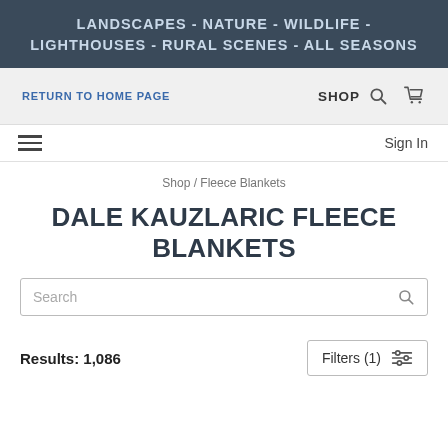LANDSCAPES - NATURE - WILDLIFE - LIGHTHOUSES - RURAL SCENES - ALL SEASONS
RETURN TO HOME PAGE   SHOP
Sign In
Shop / Fleece Blankets
DALE KAUZLARIC FLEECE BLANKETS
Search
Results: 1,086   Filters (1)